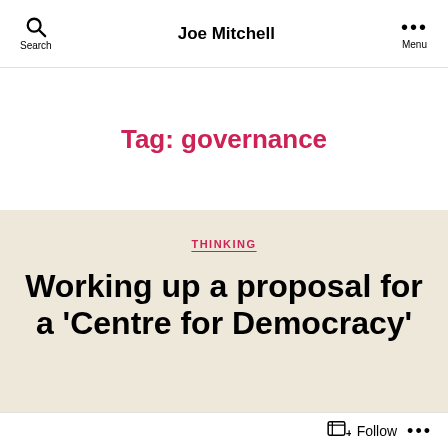Joe Mitchell
Tag: governance
THINKING
Working up a proposal for a ‘Centre for Democracy’
Follow